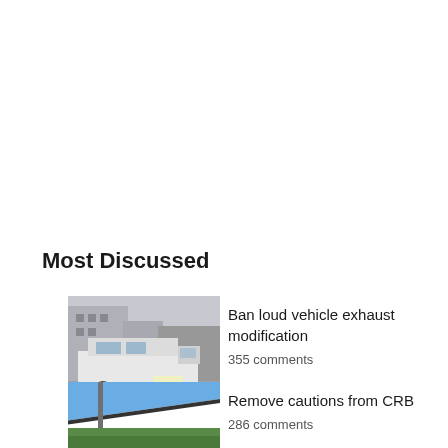Most Discussed
[Figure (photo): White van/vehicle parked on a street near buildings]
Ban loud vehicle exhaust modification
355 comments
[Figure (photo): Police station sign showing 'olice' and 'ation' text on a blue sky background]
Remove cautions from CRB
286 comments
[Figure (photo): Partial green image at bottom of page]